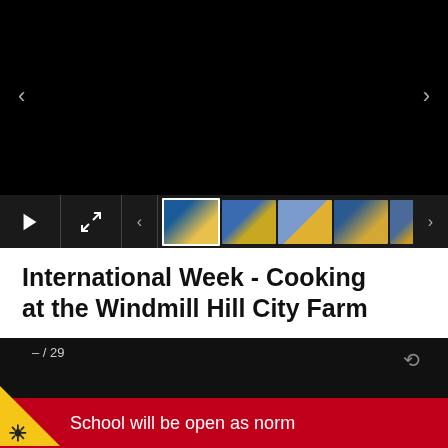[Figure (screenshot): Video player interface showing a black screen with left/right navigation arrows, playback controls bar with play button, expand button, previous/next arrows, and five photo thumbnails of children cooking at tables with blue and yellow colors]
International Week - Cooking at the Windmill Hill City Farm
[Figure (screenshot): Dark slideshow panel showing – / 29 counter text and a loading spinner icon]
School will be open as norm